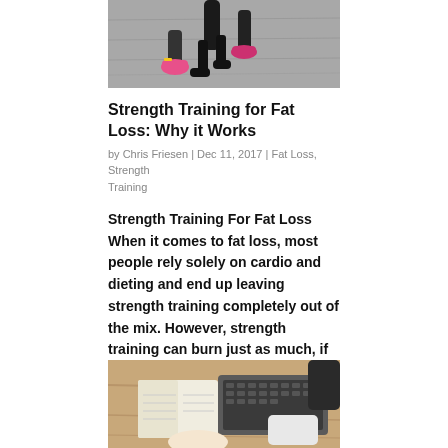[Figure (photo): Two runners on a track, wearing athletic shoes, seen from the waist down. Pink running shoes visible.]
Strength Training for Fat Loss: Why it Works
by Chris Friesen | Dec 11, 2017 | Fat Loss, Strength Training
Strength Training For Fat Loss   When it comes to fat loss, most people rely solely on cardio and dieting and end up leaving strength training completely out of the mix. However, strength training can burn just as much, if not more, fat than cardio.  So why is it...
[Figure (photo): Person sitting at a desk with an open notebook and a laptop keyboard, wearing white shirt.]